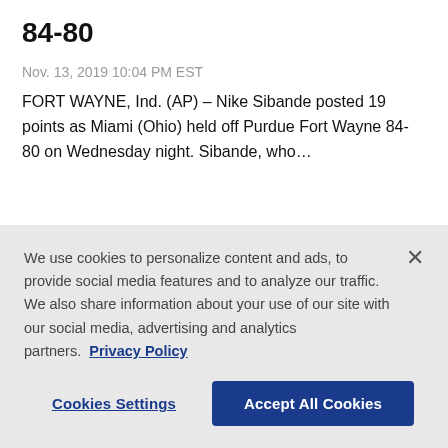84-80
Nov. 13, 2019 10:04 PM EST
FORT WAYNE, Ind. (AP) – Nike Sibande posted 19 points as Miami (Ohio) held off Purdue Fort Wayne 84-80 on Wednesday night. Sibande, who…
Latest News
We use cookies to personalize content and ads, to provide social media features and to analyze our traffic. We also share information about your use of our site with our social media, advertising and analytics partners. Privacy Policy
Cookies Settings   Accept All Cookies